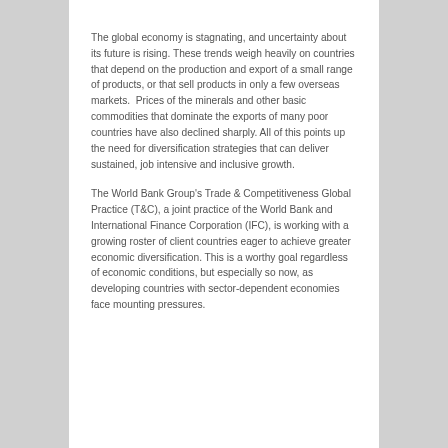The global economy is stagnating, and uncertainty about its future is rising. These trends weigh heavily on countries that depend on the production and export of a small range of products, or that sell products in only a few overseas markets.  Prices of the minerals and other basic commodities that dominate the exports of many poor countries have also declined sharply. All of this points up the need for diversification strategies that can deliver sustained, job intensive and inclusive growth.
The World Bank Group's Trade & Competitiveness Global Practice (T&C), a joint practice of the World Bank and International Finance Corporation (IFC), is working with a growing roster of client countries eager to achieve greater economic diversification. This is a worthy goal regardless of economic conditions, but especially so now, as developing countries with sector-dependent economies face mounting pressures.